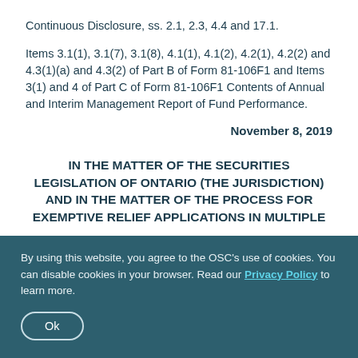Continuous Disclosure, ss. 2.1, 2.3, 4.4 and 17.1.
Items 3.1(1), 3.1(7), 3.1(8), 4.1(1), 4.1(2), 4.2(1), 4.2(2) and 4.3(1)(a) and 4.3(2) of Part B of Form 81-106F1 and Items 3(1) and 4 of Part C of Form 81-106F1 Contents of Annual and Interim Management Report of Fund Performance.
November 8, 2019
IN THE MATTER OF THE SECURITIES LEGISLATION OF ONTARIO (the Jurisdiction) AND IN THE MATTER OF THE PROCESS FOR EXEMPTIVE RELIEF APPLICATIONS IN MULTIPLE
By using this website, you agree to the OSC's use of cookies. You can disable cookies in your browser. Read our Privacy Policy to learn more.